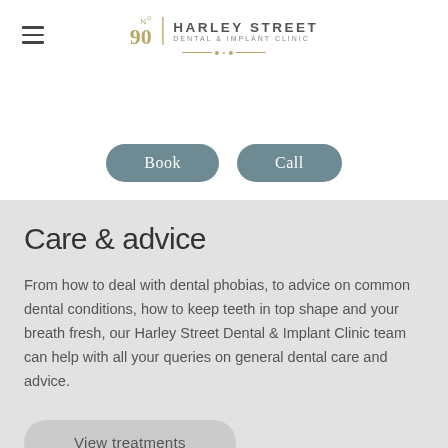No 90 Harley Street Dental & Implant Clinic
[Figure (logo): Harley Street Dental & Implant Clinic logo with No 90 emblem and decorative ornament]
Book
Call
Care & advice
From how to deal with dental phobias, to advice on common dental conditions, how to keep teeth in top shape and your breath fresh, our Harley Street Dental & Implant Clinic team can help with all your queries on general dental care and advice.
View treatments